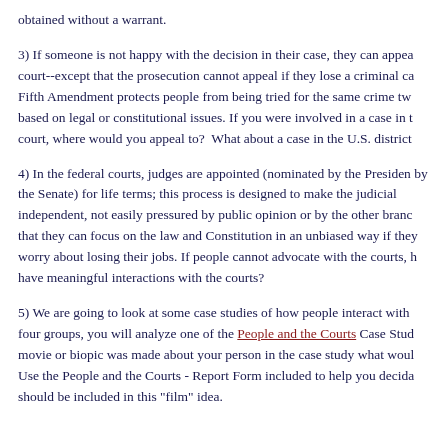obtained without a warrant.
3) If someone is not happy with the decision in their case, they can appeal to a higher court--except that the prosecution cannot appeal if they lose a criminal case because the Fifth Amendment protects people from being tried for the same crime twice. Appeals are based on legal or constitutional issues. If you were involved in a case in the state district court, where would you appeal to?  What about a case in the U.S. district court?
4) In the federal courts, judges are appointed (nominated by the President and confirmed by the Senate) for life terms; this process is designed to make the judicial branch independent, not easily pressured by public opinion or by the other branches. The idea is that they can focus on the law and Constitution in an unbiased way if they do not need to worry about losing their jobs. If people cannot advocate with the courts, how can citizens have meaningful interactions with the courts?
5) We are going to look at some case studies of how people interact with the courts. In four groups, you will analyze one of the People and the Courts Case Studies. Imagine a movie or biopic was made about your person in the case study what would be included? Use the People and the Courts - Report Form included to help you decide what details should be included in this "film" idea.